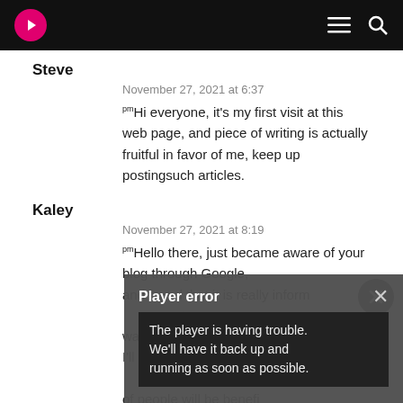[Navigation bar with logo, menu and search icons]
Steve
November 27, 2021 at 6:37
Hi everyone, it's my first visit at this web page, and piece of writing is actually fruitful in favor of me, keep up postingsuch articles.
Kaley
November 27, 2021 at 8:19
Hello there, just became aware of your blog through Google, and found that it is really informative. I'm going to watch out for brussels. I'll be grateful if you continue this in future. Lots of people will be benefited from your writing.
[Figure (infographic): Player error overlay: 'Player error' title with X close button, message 'The player is having trouble. We'll have it back up and running as soon as possible.' on dark background]